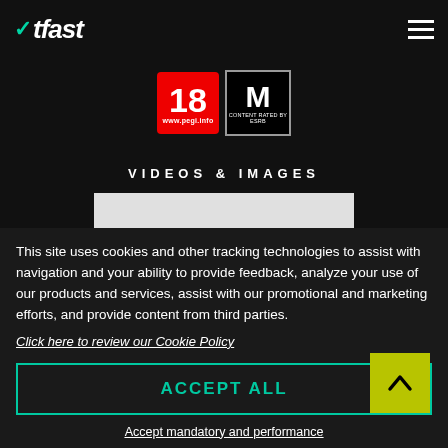WTFast
[Figure (logo): PEGI 18 rating badge and ESRB M (Mature) rating badge]
VIDEOS & IMAGES
[Figure (screenshot): Light grey video/image placeholder rectangle]
This site uses cookies and other tracking technologies to assist with navigation and your ability to provide feedback, analyze your use of our products and services, assist with our promotional and marketing efforts, and provide content from third parties.
Click here to review our Cookie Policy
ACCEPT ALL
Accept mandatory and performance